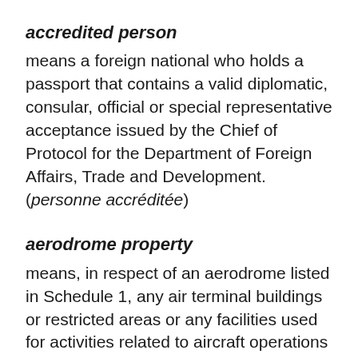accredited person
means a foreign national who holds a passport that contains a valid diplomatic, consular, official or special representative acceptance issued by the Chief of Protocol for the Department of Foreign Affairs, Trade and Development. (personne accréditée)
aerodrome property
means, in respect of an aerodrome listed in Schedule 1, any air terminal buildings or restricted areas or any facilities used for activities related to aircraft operations or aerodrome operations that are located at